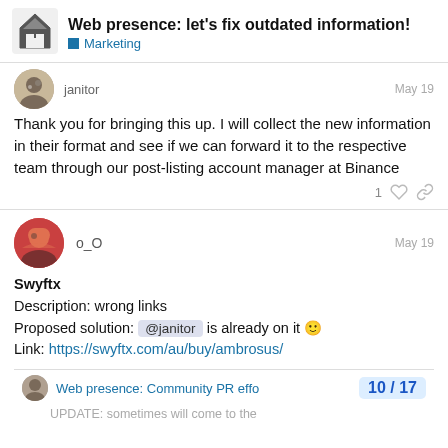Web presence: let's fix outdated information! — Marketing
janitor — May 19
Thank you for bringing this up. I will collect the new information in their format and see if we can forward it to the respective team through our post-listing account manager at Binance
o_O — May 19
Swyftx
Description: wrong links
Proposed solution: @janitor is already on it 🙂
Link: https://swyftx.com/au/buy/ambrosus/
Web presence: Community PR effo… 10 / 17
UPDATE: ...